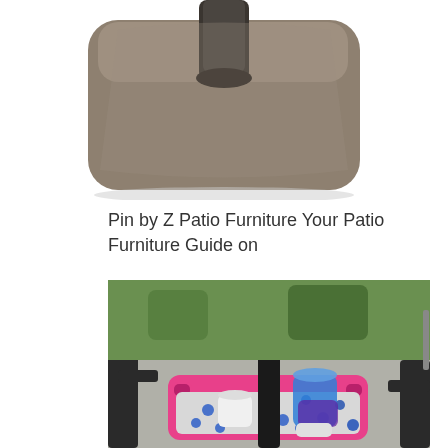[Figure (photo): Close-up photo of a taupe/beige colored square patio umbrella base with a dark pole insert at the top, against a white background.]
Pin by Z Patio Furniture Your Patio Furniture Guide on
[Figure (photo): Outdoor photo of a DIY patio umbrella stand made from a pink plastic tray/basket filled with white gravel and blue glass gems, with a black umbrella pole through the center, and a white and blue plastic cup used as a drink holder. Patio and garden visible in background.]